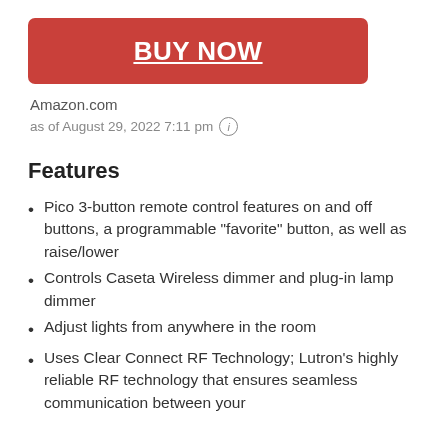BUY NOW
Amazon.com
as of August 29, 2022 7:11 pm
Features
Pico 3-button remote control features on and off buttons, a programmable "favorite" button, as well as raise/lower
Controls Caseta Wireless dimmer and plug-in lamp dimmer
Adjust lights from anywhere in the room
Uses Clear Connect RF Technology; Lutron's highly reliable RF technology that ensures seamless communication between your